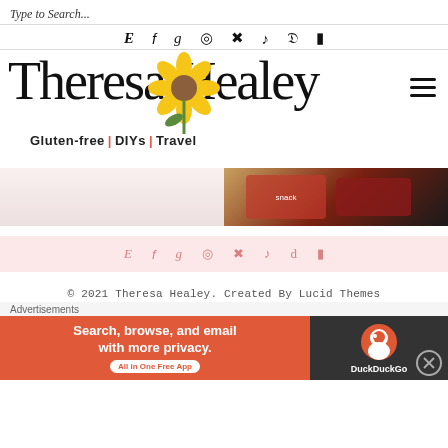Type to Search...
[Figure (screenshot): Top navigation social media icons row: E (Etsy), f (Facebook), g (Goodreads), Instagram, Pinterest, TikTok, Twitter, YouTube]
[Figure (logo): Theresa Healey blog logo with cursive script text and sunflower graphic. Tagline: Gluten-free | DIYs | Travel]
[Figure (photo): Two food/product photos side by side: left shows a light pink/white background, right shows candy/snack packages on a wooden surface]
[Figure (screenshot): Footer social media icons row in pink/rose color: E, f, g, Instagram, Pinterest, TikTok, Twitter, YouTube]
© 2021 Theresa Healey. Created By Lucid Themes
Advertisements
[Figure (screenshot): DuckDuckGo advertisement banner: 'Search, browse, and email with more privacy. All in One Free App' with DuckDuckGo duck logo on dark background]